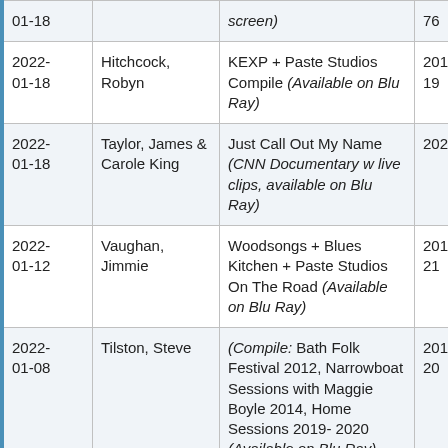| Date | Artist | Title | Year | Duration |
| --- | --- | --- | --- | --- |
| 01-18 (partial) |  | ...screen) | 76 (partial) | mins (partial) |
| 2022-01-18 | Hitchcock, Robyn | KEXP + Paste Studios Compile (Available on Blu Ray) | 2013 - 19 | 133 mins |
| 2022-01-18 | Taylor, James & Carole King | Just Call Out My Name (CNN Documentary w live clips, available on Blu Ray) | 2021 | 106 mins |
| 2022-01-12 | Vaughan, Jimmie | Woodsongs + Blues Kitchen + Paste Studios On The Road (Available on Blu Ray) | 2019 - 21 | 164 mins |
| 2022-01-08 | Tilston, Steve | (Compile: Bath Folk Festival 2012, Narrowboat Sessions with Maggie Boyle 2014, Home Sessions 2019-2020 (Available on Blu Ray) | 2012 - 20 | 90 mins |
| (partial) |  | Live From Tubby's House (Jan 5, 2022, |  |  |